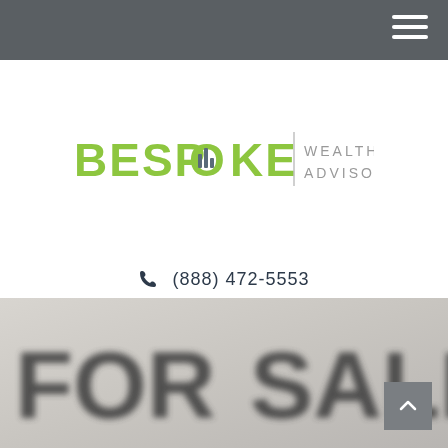Navigation bar with hamburger menu
[Figure (logo): Bespoke Wealth Advisors logo: bold green BESPOKE text with bar chart icon in the O, vertical divider, WEALTH ADVISORS in grey]
(888) 472-5553
[Figure (photo): Close-up blurred photo of a FOR SALE sign with dark text on light background]